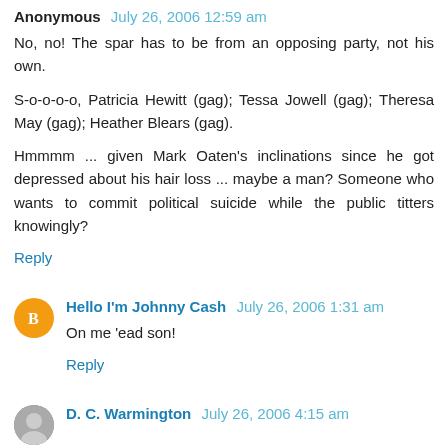Anonymous July 26, 2006 12:59 am
No, no! The spar has to be from an opposing party, not his own.

S-o-o-o-o, Patricia Hewitt (gag); Tessa Jowell (gag); Theresa May (gag); Heather Blears (gag).

Hmmmm ... given Mark Oaten's inclinations since he got depressed about his hair loss ... maybe a man? Someone who wants to commit political suicide while the public titters knowingly?
Reply
Hello I'm Johnny Cash July 26, 2006 1:31 am
On me 'ead son!
Reply
D. C. Warmington July 26, 2006 4:15 am